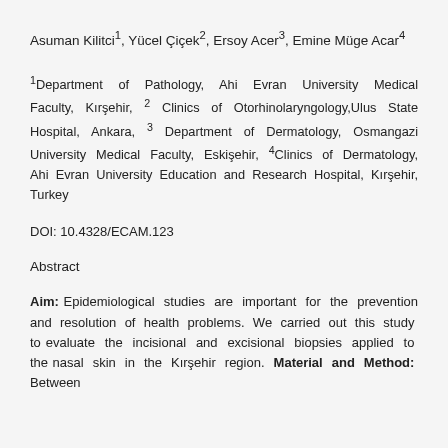Asuman Kilitci¹, Yücel Çiçek², Ersoy Acer³, Emine Müge Acar⁴
¹Department of Pathology, Ahi Evran University Medical Faculty, Kırşehir, ² Clinics of Otorhinolaryngology,Ulus State Hospital, Ankara, ³ Department of Dermatology, Osmangazi University Medical Faculty, Eskişehir, ⁴Clinics of Dermatology, Ahi Evran University Education and Research Hospital, Kırşehir, Turkey
DOI: 10.4328/ECAM.123
Abstract
Aim: Epidemiological studies are important for the prevention and resolution of health problems. We carried out this study to evaluate the incisional and excisional biopsies applied to the nasal skin in the Kırşehir region. Material and Method: Between